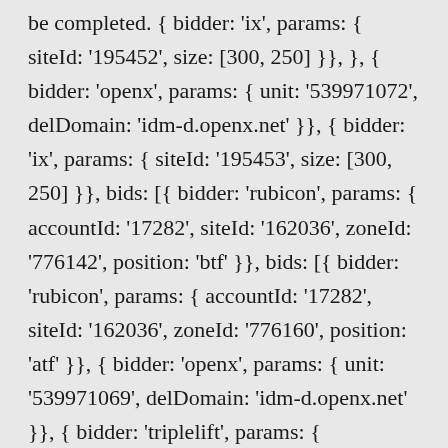be completed. { bidder: 'ix', params: { siteId: '195452', size: [300, 250] }}, }, { bidder: 'openx', params: { unit: '539971072', delDomain: 'idm-d.openx.net' }}, { bidder: 'ix', params: { siteId: '195453', size: [300, 250] }}, bids: [{ bidder: 'rubicon', params: { accountId: '17282', siteId: '162036', zoneId: '776142', position: 'btf' }}, bids: [{ bidder: 'rubicon', params: { accountId: '17282', siteId: '162036', zoneId: '776160', position: 'atf' }}, { bidder: 'openx', params: { unit: '539971069', delDomain: 'idm-d.openx.net' }}, { bidder: 'triplelift', params: { inventoryCode: 'Cambridge_MidArticle' }}, the present simple definition: 1. the tense that is used to refer to events, actions, and conditions that are happening all the.... 5 (10) Contents1 Project